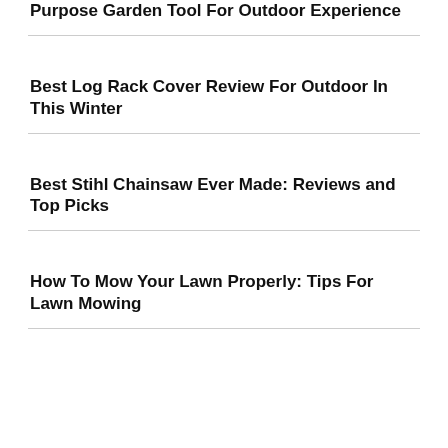Purpose Garden Tool For Outdoor Experience
Best Log Rack Cover Review For Outdoor In This Winter
Best Stihl Chainsaw Ever Made: Reviews and Top Picks
How To Mow Your Lawn Properly: Tips For Lawn Mowing